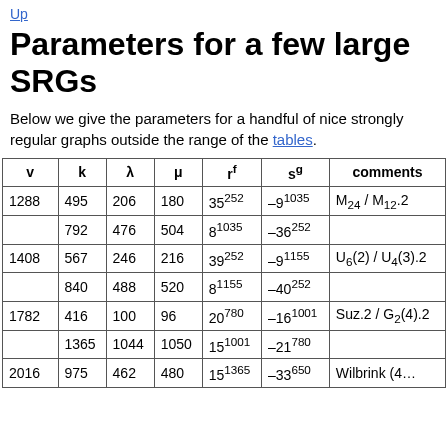Up
Parameters for a few large SRGs
Below we give the parameters for a handful of nice strongly regular graphs outside the range of the tables.
| v | k | λ | μ | rf | sg | comments |
| --- | --- | --- | --- | --- | --- | --- |
| 1288 | 495 | 206 | 180 | 35252 | –91035 | M24 / M12.2 |
|  | 792 | 476 | 504 | 81035 | –36252 |  |
| 1408 | 567 | 246 | 216 | 39252 | –91155 | U6(2) / U4(3).2 |
|  | 840 | 488 | 520 | 81155 | –40252 |  |
| 1782 | 416 | 100 | 96 | 20780 | –161001 | Suz.2 / G2(4).2 |
|  | 1365 | 1044 | 1050 | 151001 | –21780 |  |
| 2016 | 975 | 462 | 480 | 15 1365 | –331001 | Wilbrink (4... |